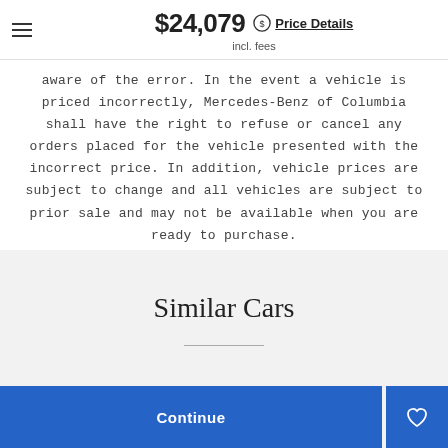$24,079 incl. fees  Price Details
aware of the error. In the event a vehicle is priced incorrectly, Mercedes-Benz of Columbia shall have the right to refuse or cancel any orders placed for the vehicle presented with the incorrect price. In addition, vehicle prices are subject to change and all vehicles are subject to prior sale and may not be available when you are ready to purchase.
Similar Cars
2019 Mercedes-Benz...